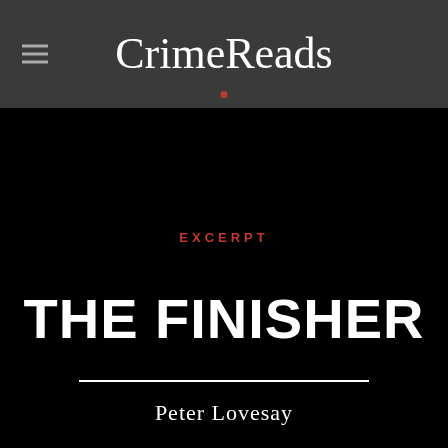CrimeReads
EXCERPT
THE FINISHER
Peter Lovesay